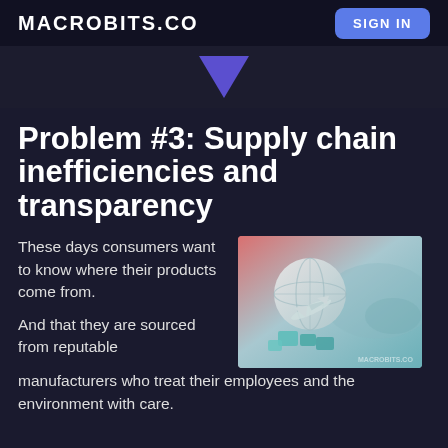MACROBITS.CO
SIGN IN
[Figure (illustration): Purple downward-pointing arrow/chevron on dark background]
Problem #3: Supply chain inefficiencies and transparency
These days consumers want to know where their products come from.
[Figure (photo): Supply chain illustration showing a globe, airplane, and shipping boxes on a world map background with pink/teal gradient]
And that they are sourced from reputable manufacturers who treat their employees and the environment with care.